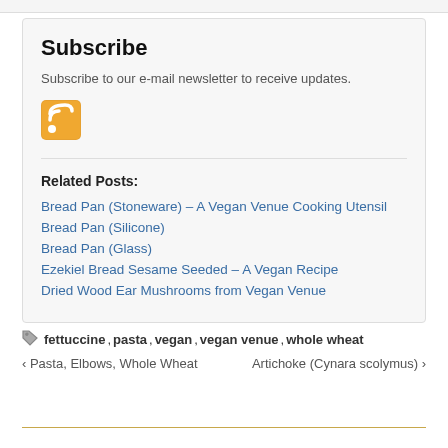Subscribe
Subscribe to our e-mail newsletter to receive updates.
[Figure (logo): RSS feed icon — orange rounded square with white RSS signal lines]
Related Posts:
Bread Pan (Stoneware) – A Vegan Venue Cooking Utensil
Bread Pan (Silicone)
Bread Pan (Glass)
Ezekiel Bread Sesame Seeded – A Vegan Recipe
Dried Wood Ear Mushrooms from Vegan Venue
fettuccine, pasta, vegan, vegan venue, whole wheat
‹ Pasta, Elbows, Whole Wheat   Artichoke (Cynara scolymus) ›